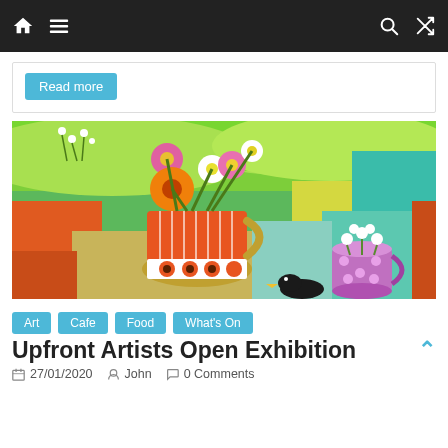Navigation bar with home, menu, search, and shuffle icons
Read more
[Figure (illustration): Colorful painting of flowers in an orange striped vase with polka-dot mug and a blackbird, set against a vibrant green background with geometric color blocks]
Art
Cafe
Food
What's On
Upfront Artists Open Exhibition
27/01/2020  John  0 Comments